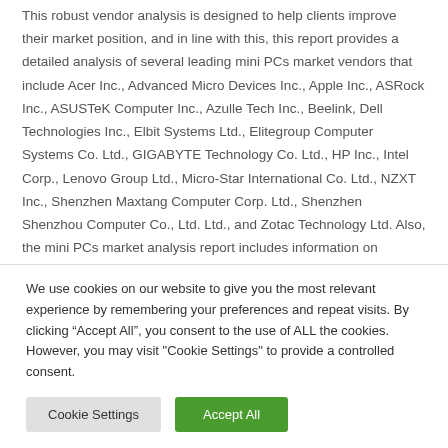This robust vendor analysis is designed to help clients improve their market position, and in line with this, this report provides a detailed analysis of several leading mini PCs market vendors that include Acer Inc., Advanced Micro Devices Inc., Apple Inc., ASRock Inc., ASUSTeK Computer Inc., Azulle Tech Inc., Beelink, Dell Technologies Inc., Elbit Systems Ltd., Elitegroup Computer Systems Co. Ltd., GIGABYTE Technology Co. Ltd., HP Inc., Intel Corp., Lenovo Group Ltd., Micro-Star International Co. Ltd., NZXT Inc., Shenzhen Maxtang Computer Corp. Ltd., Shenzhen Shenzhou Computer Co., Ltd. Ltd., and Zotac Technology Ltd. Also, the mini PCs market analysis report includes information on
We use cookies on our website to give you the most relevant experience by remembering your preferences and repeat visits. By clicking "Accept All", you consent to the use of ALL the cookies. However, you may visit "Cookie Settings" to provide a controlled consent.